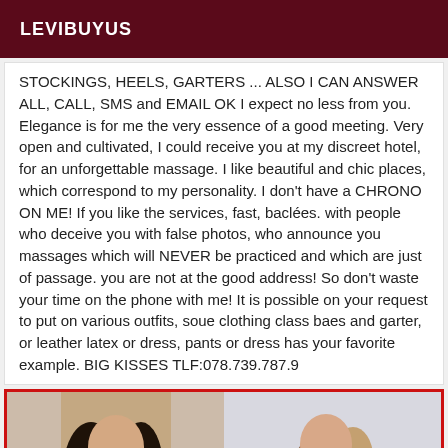LEVIBUYUS
STOCKINGS, HEELS, GARTERS ... ALSO I CAN ANSWER ALL, CALL, SMS and EMAIL OK I expect no less from you. Elegance is for me the very essence of a good meeting. Very open and cultivated, I could receive you at my discreet hotel, for an unforgettable massage. I like beautiful and chic places, which correspond to my personality. I don't have a CHRONO ON ME! If you like the services, fast, baclées. with people who deceive you with false photos, who announce you massages which will NEVER be practiced and which are just of passage. you are not at the good address! So don't waste your time on the phone with me! It is possible on your request to put on various outfits, soue clothing class baes and garter, or leather latex or dress, pants or dress has your favorite example. BIG KISSES TLF:078.739.787.9
[Figure (photo): Two side-by-side photos of a person, cropped showing top of head/hair, against light backgrounds, enclosed in a red border.]